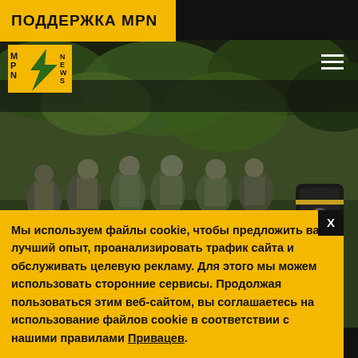ПОДДЕРЖКА MPN
[Figure (logo): MPN News logo with yellow lightning bolt on dark background, letters M, P, N on left and N, E, W, S on right]
[Figure (photo): Group of soldiers in camouflage uniforms and green helmets moving through tropical vegetation, with a branded suitcase visible on the right side]
Мы используем файлы cookie, чтобы предложить вам лучший опыт, проанализировать трафик сайта и обслуживать целевую рекламу. Для этого мы можем использовать сторонние сервисы. Продолжая пользоваться этим веб-сайтом, вы соглашаетесь на использование файлов cookie в соответствии с нашими правилами Привацев.